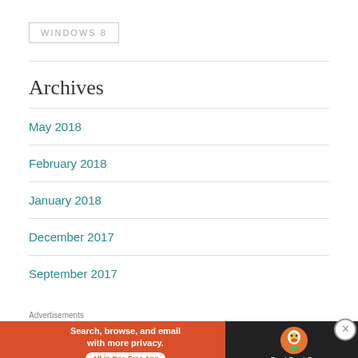WINDOWS 8
Archives
May 2018
February 2018
January 2018
December 2017
September 2017
Advertisements
[Figure (other): DuckDuckGo advertisement banner: 'Search, browse, and email with more privacy. All in One Free App' with DuckDuckGo logo on dark background]